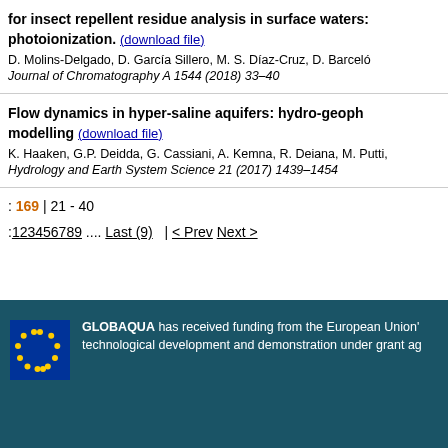for insect repellent residue analysis in surface waters: photoionization. (download file) D. Molins-Delgado, D. García Sillero, M. S. Díaz-Cruz, D. Barceló Journal of Chromatography A 1544 (2018) 33–40
Flow dynamics in hyper-saline aquifers: hydro-geoph modelling (download file) K. Haaken, G.P. Deidda, G. Cassiani, A. Kemna, R. Deiana, M. Putti, Hydrology and Earth System Science 21 (2017) 1439–1454
: 169 | 21 - 40
:123456789 .... Last (9) | < Prev Next >
GLOBAQUA has received funding from the European Union's technological development and demonstration under grant ag